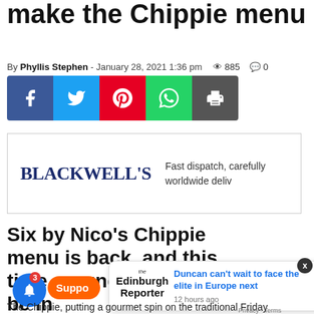make the Chippie menu
By Phyllis Stephen - January 28, 2021 1:36 pm  885  0
[Figure (infographic): Social share buttons: Facebook (blue), Twitter (cyan), Pinterest (red), WhatsApp (green), Print (dark grey)]
[Figure (logo): Blackwell's bookstore advertisement. Logo reads BLACKWELL'S with text: Fast dispatch, carefully worldwide deliv]
Six by Nico's Chippie menu is back, and this time around- you will be in
[Figure (infographic): Popup notification card from The Edinburgh Reporter: Duncan can't wait to face the elite in Europe next - 12 hours ago]
The Chippie, putting a gourmet spin on the traditional Friday